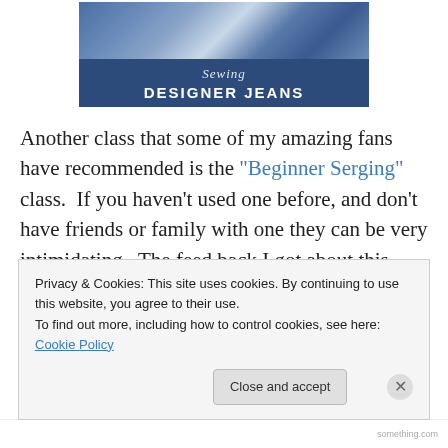[Figure (photo): Book cover for 'Sewing Designer Jeans' showing stacked denim jeans on top with a dark blue banner at the bottom displaying the title in white text.]
Another class that some of my amazing fans have recommended is the "Beginner Serging" class.  If you haven't used one before, and don't have friends or family with one they can be very intimidating.  The feed back I got about this class is it is a great way to but the fear a side and pull that serger out of the closet (seems pretty common, lol) and start falling in love with it.  Since different
Privacy & Cookies: This site uses cookies. By continuing to use this website, you agree to their use.
To find out more, including how to control cookies, see here: Cookie Policy
Close and accept